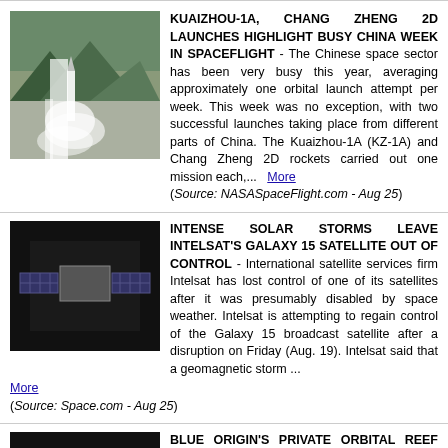[Figure (photo): Rocket launch with smoke and mountains in background]
KUAIZHOU-1A, CHANG ZHENG 2D LAUNCHES HIGHLIGHT BUSY CHINA WEEK IN SPACEFLIGHT - The Chinese space sector has been very busy this year, averaging approximately one orbital launch attempt per week. This week was no exception, with two successful launches taking place from different parts of China. The Kuaizhou-1A (KZ-1A) and Chang Zheng 2D rockets carried out one mission each,... More (Source: NASASpaceFlight.com - Aug 25)
[Figure (photo): Intelsat Galaxy 15 satellite in dark background]
INTENSE SOLAR STORMS LEAVE INTELSAT'S GALAXY 15 SATELLITE OUT OF CONTROL - International satellite services firm Intelsat has lost control of one of its satellites after it was presumably disabled by space weather. Intelsat is attempting to regain control of the Galaxy 15 broadcast satellite after a disruption on Friday (Aug. 19). Intelsat said that a geomagnetic storm ... More (Source: Space.com - Aug 25)
[Figure (photo): Blue Origin Orbital Reef space station concept image]
BLUE ORIGIN'S PRIVATE ORBITAL REEF SPACE STATION PASSES KEY DESIGN REVIEW - A private space station that Jeff Bezos' Blue Origin and other partners plan to build just cleared a hurdle on its path to orbit. Orbital Reef,... a project